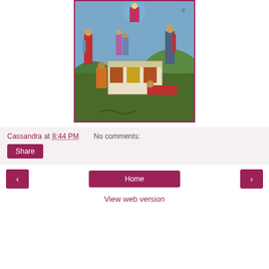[Figure (illustration): Renaissance painting depicting a religious/mythological scene with figures in colorful robes around a tomb or altar, with a celestial figure above and a landscape background.]
Cassandra at 8:44 PM   No comments:
Share
‹
Home
›
View web version